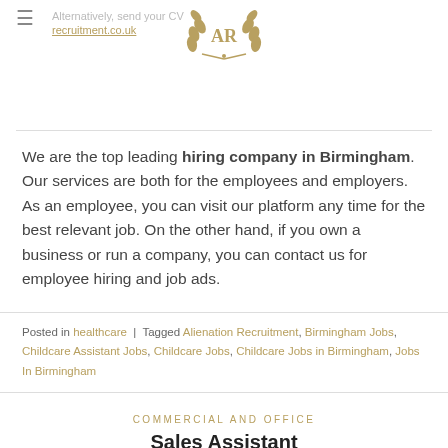Alternatively, send your CV to jobs@alienation-recruitment.co.uk
[Figure (logo): AR laurel wreath logo in gold]
We are the top leading hiring company in Birmingham. Our services are both for the employees and employers. As an employee, you can visit our platform any time for the best relevant job. On the other hand, if you own a business or run a company, you can contact us for employee hiring and job ads.
Posted in healthcare | Tagged Alienation Recruitment, Birmingham Jobs, Childcare Assistant Jobs, Childcare Jobs, Childcare Jobs in Birmingham, Jobs In Birmingham
COMMERCIAL AND OFFICE
Sales Assistant